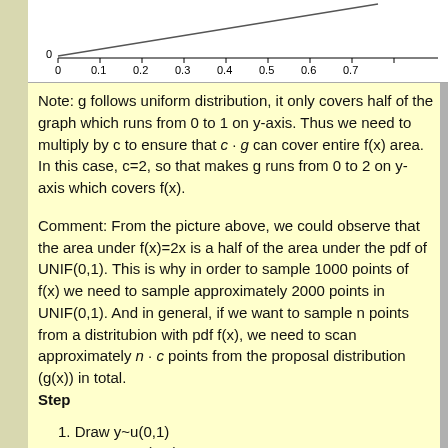[Figure (continuous-plot): Partial view of a line chart showing a diagonal line rising from origin, with x-axis labeled 0, 0.1, 0.2, 0.3, 0.4, 0.5, 0.6, 0.7, and y-axis showing 0 at the bottom visible portion.]
Note: g follows uniform distribution, it only covers half of the graph which runs from 0 to 1 on y-axis. Thus we need to multiply by c to ensure that c · g can cover entire f(x) area. In this case, c=2, so that makes g runs from 0 to 2 on y-axis which covers f(x).
Comment: From the picture above, we could observe that the area under f(x)=2x is a half of the area under the pdf of UNIF(0,1). This is why in order to sample 1000 points of f(x) we need to sample approximately 2000 points in UNIF(0,1). And in general, if we want to sample n points from a distritubion with pdf f(x), we need to scan approximately n · c points from the proposal distribution (g(x)) in total.
Step
1. Draw y~u(0,1)
2. Draw x ~ u(0,1)